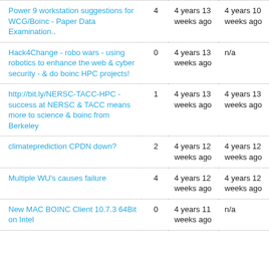| Power 9 workstation suggestions for WCG/Boinc - Paper Data Examination.. | 4 | 4 years 13 weeks ago | 4 years 10 weeks ago |
| Hack4Change - robo wars - using robotics to enhance the web & cyber security - & do boinc HPC projects! | 0 | 4 years 13 weeks ago | n/a |
| http://bit.ly/NERSC-TACC-HPC - success at NERSC & TACC means more to science & boinc from Berkeley | 1 | 4 years 13 weeks ago | 4 years 13 weeks ago |
| climateprediction CPDN down? | 2 | 4 years 12 weeks ago | 4 years 12 weeks ago |
| Multiple WU's causes failure | 4 | 4 years 12 weeks ago | 4 years 12 weeks ago |
| New MAC BOINC Client 10.7.3 64Bit on Intel | 0 | 4 years 11 weeks ago | n/a |